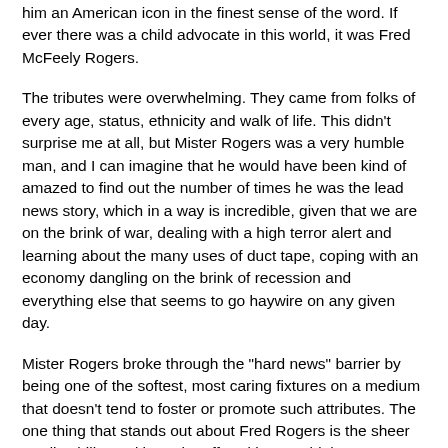That's the kind of forethought and consideration that made him an American icon in the finest sense of the word. If ever there was a child advocate in this world, it was Fred McFeely Rogers.
The tributes were overwhelming. They came from folks of every age, status, ethnicity and walk of life. This didn't surprise me at all, but Mister Rogers was a very humble man, and I can imagine that he would have been kind of amazed to find out the number of times he was the lead news story, which in a way is incredible, given that we are on the brink of war, dealing with a high terror alert and learning about the many uses of duct tape, coping with an economy dangling on the brink of recession and everything else that seems to go haywire on any given day.
Mister Rogers broke through the "hard news" barrier by being one of the softest, most caring fixtures on a medium that doesn't tend to foster or promote such attributes. The one thing that stands out about Fred Rogers is the sheer predictability and hope he offered in a world that seems to thrive on shock value.